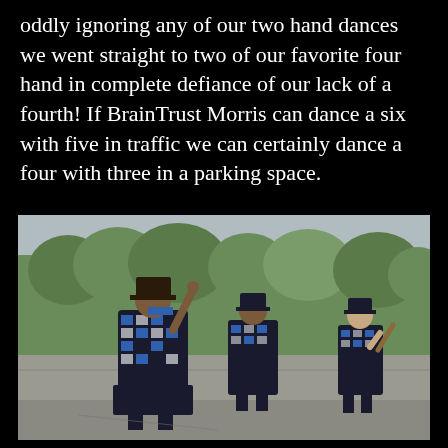oddly ignoring any of our two hand dances we went straight to two of our favorite four hand in complete defiance of our lack of a fourth! If BrainTrust Morris can dance a six with five in traffic we can certainly dance a four with three in a parking space.
[Figure (photo): Three people dressed in black and blue Morris dancing costumes with decorated hats are standing in a parking lot outdoor setting with trees in the background. The leftmost dancer faces away from the camera with one arm raised; the middle dancer faces slightly away; the rightmost dancer faces the camera holding a stick.]